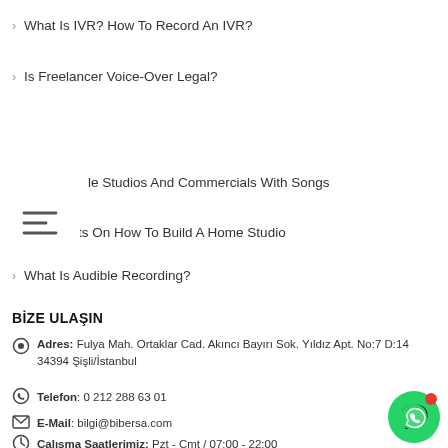What Is IVR? How To Record An IVR?
Is Freelancer Voice-Over Legal?
le Studios And Commercials With Songs
Key Points On How To Build A Home Studio
What Is Audible Recording?
BİZE ULAŞIN
Adres: Fulya Mah. Ortaklar Cad. Akıncı Bayırı Sok. Yıldız Apt. No:7 D:14 34394 Şişli/İstanbul
Telefon: 0 212 288 63 01
E-Mail: bilgi@bibersa.com
Çalışma Saatlerimiz: Pzt - Cmt / 07:00 - 22:00
[Figure (illustration): WhatsApp floating action button (green circle with WhatsApp logo and red notification dot)]